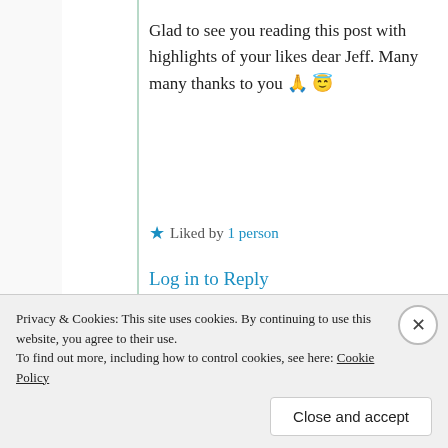Glad to see you reading this post with highlights of your likes dear Jeff. Many many thanks to you 🙏 😇
★ Liked by 1 person
Log in to Reply
Jeff Flesch
Privacy & Cookies: This site uses cookies. By continuing to use this website, you agree to their use. To find out more, including how to control cookies, see here: Cookie Policy
Close and accept